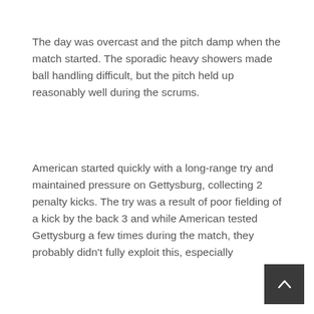The day was overcast and the pitch damp when the match started. The sporadic heavy showers made ball handling difficult, but the pitch held up reasonably well during the scrums.
American started quickly with a long-range try and maintained pressure on Gettysburg, collecting 2 penalty kicks. The try was a result of poor fielding of a kick by the back 3 and while American tested Gettysburg a few times during the match, they probably didn't fully exploit this, especially